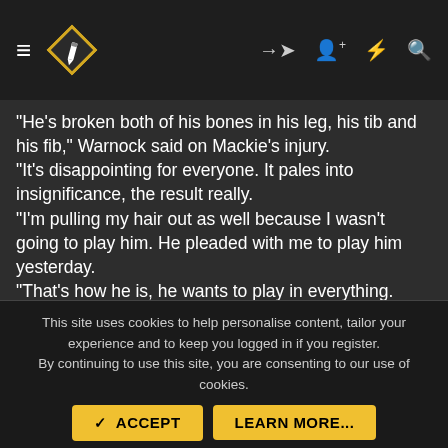≡ [logo] → ♟ ⚡ 🔍
"He's broken both of his bones in his leg, his tib and his fib," Warnock said on Mackie's injury. "It's disappointing for everyone. It pales into insignificance, the result really. "I'm pulling my hair out as well because I wasn't going to play him. He pleaded with me to play him yesterday. "That's how he is, he wants to play in everything. We'll miss him. It's a massive blow to us. "I can't see him really playing again this season. The lads have said 'we've really got to try and get promotion for him now'.
Disappointed
"He's a fantastic lad. so that's why I was disappointed
This site uses cookies to help personalise content, tailor your experience and to keep you logged in if you register.
By continuing to use this site, you are consenting to our use of cookies.